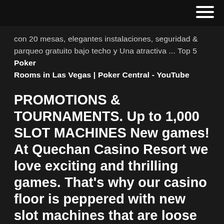con 20 mesas, elegantes instalaciones, seguridad & parqueo gratuito bajo techo y Una atractiva ... Top 5 Poker Rooms in Las Vegas | Poker Central - YouTube
PROMOTIONS & TOURNAMENTS. Up to 1,000 SLOT MACHINES New games! At Quechan Casino Resort we love exciting and thrilling games. That's why our casino floor is peppered with new slot machines that are loose and ready to make your day!. TABLE GAMES
Winners Gallery | Q Casino and Hotel Winners Gallery Winner, winner! Q Casino congratulates all of our big winners! We're proud to be dubuQue's hottest casino and destination for fun. Q Casino Dubuque, IA Poker